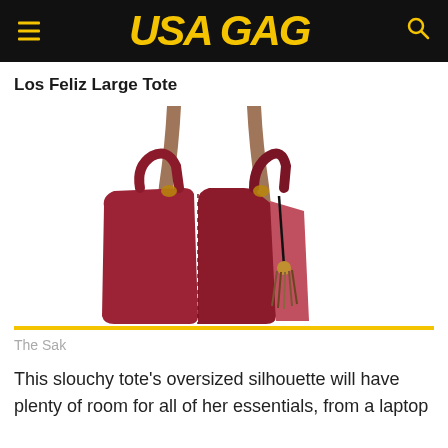USA GAG
Los Feliz Large Tote
[Figure (photo): Photo of a red leather large tote bag (Los Feliz) with brown straps and a tassel, shown from the top/front angle against white background.]
The Sak
This slouchy tote's oversized silhouette will have plenty of room for all of her essentials, from a laptop